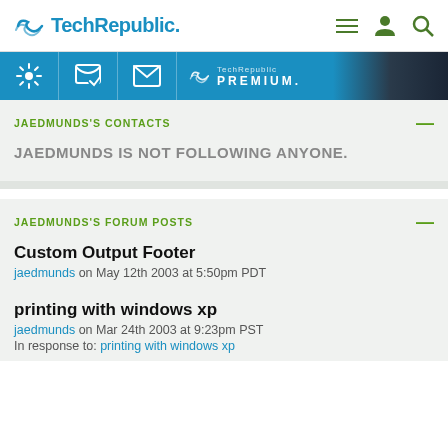TechRepublic
[Figure (screenshot): TechRepublic Premium banner strip with icons for settings, messaging, email, and TechRepublic Premium logo on blue background]
JAEDMUNDS'S CONTACTS
JAEDMUNDS IS NOT FOLLOWING ANYONE.
JAEDMUNDS'S FORUM POSTS
Custom Output Footer
jaedmunds on May 12th 2003 at 5:50pm PDT
printing with windows xp
jaedmunds on Mar 24th 2003 at 9:23pm PST
In response to: printing with windows xp